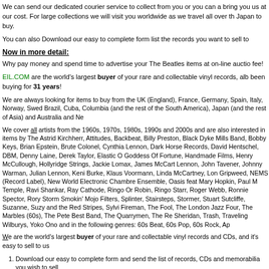We can send our dedicated courier service to collect from you or you can a bring you us at our cost. For large collections we will visit you worldwide as we travel all over th Japan to buy.
You can also Download our easy to complete form list the records you want to sell to
Now in more detail:
Why pay money and spend time to advertise your The Beatles items at on-line auctio fee!
EIL.COM are the world's largest buyer of your rare and collectable vinyl records, alb been buying for 31 years!
We are always looking for items to buy from the UK (England), France, Germany, Spain, Italy, Norway, Swed Brazil, Cuba, Columbia (and the rest of the South America), Japan (and the rest of Asia) and Australia and Ne
We cover all artists from the 1960s, 1970s, 1980s, 1990s and 2000s and are also interested in items by The Astrid Kirchherr, Attitudes, Backbeat, Billy Preston, Black Dyke Mills Band, Bobby Keys, Brian Epstein, Brute Colonel, Cynthia Lennon, Dark Horse Records, David Hentschel, DBM, Denny Laine, Derek Taylor, Elastic O Goddess Of Fortune, Handmade Films, Henry McCullough, Hollyridge Strings, Jackie Lomax, James McCart Lennon, John Tavener, Johnny Warman, Julian Lennon, Keni Burke, Klaus Voormann, Linda McCartney, Lon Gripweed, NEMS (Record Label), New World Electronic Chambre Ensemble, Oasis feat Mary Hopkin, Paul M Temple, Ravi Shankar, Ray Cathode, Ringo Or Robin, Ringo Starr, Roger Webb, Ronnie Spector, Rory Storm Smokin' Mojo Filters, Splinter, Stairsteps, Stormer, Stuart Sutcliffe, Suzanne, Suzy and the Red Stripes, Sylvi Fireman, The Fool, The London Jazz Four, The Marbles (60s), The Pete Best Band, The Quarrymen, The Re Sheridan, Trash, Traveling Wilburys, Yoko Ono and in the following genres: 60s Beat, 60s Pop, 60s Rock, Ap
We are the world's largest buyer of your rare and collectable vinyl records and CDs, and it's easy to sell to us
Download our easy to complete form and send the list of records, CDs and memorabilia you wish to sell
We will e-mail you back quoting how much we will pay for them,
Post to us the records and CDs you agree to sell,
We send you payment by return and will even pay your postage costs.
You can also call us on +44 (0)1474 815099 and email buyers@eil.com.